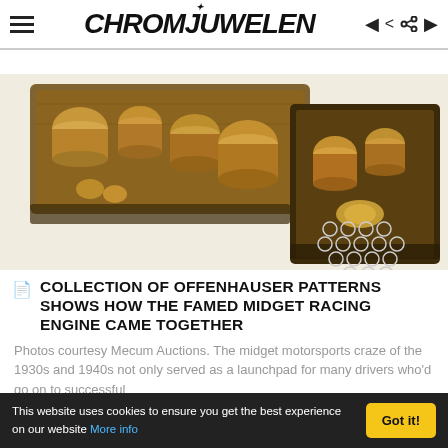CHROMJUWELEN
[Figure (photo): Wooden engine casting patterns for Offenhauser midget racing engine, arranged in wooden trays on a white background]
COLLECTION OF OFFENHAUSER PATTERNS SHOWS HOW THE FAMED MIDGET RACING ENGINE CAME TOGETHER
Photos courtesy Mecum Auctions. The midget motorsports craze of the 1930s and 1940s not only served as a launchpad for many drivers who'd go on to successful
This website uses cookies to ensure you get the best experience on our website More info